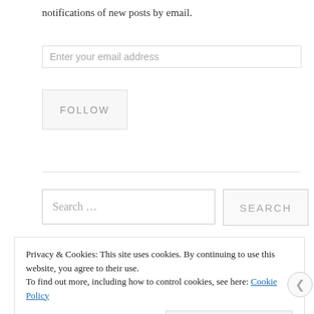notifications of new posts by email.
Enter your email address
FOLLOW
Search …
SEARCH
Privacy & Cookies: This site uses cookies. By continuing to use this website, you agree to their use.
To find out more, including how to control cookies, see here: Cookie Policy
Close and accept